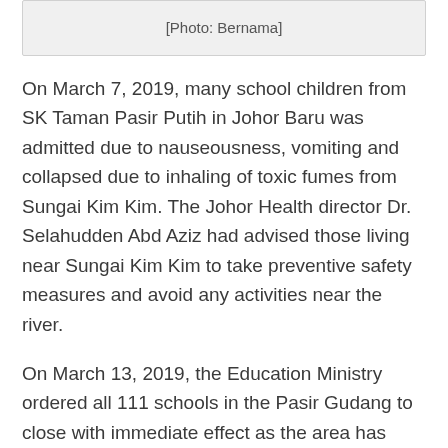[Figure (photo): [Photo: Bernama] placeholder box]
On March 7, 2019, many school children from SK Taman Pasir Putih in Johor Baru was admitted due to nauseousness, vomiting and collapsed due to inhaling of toxic fumes from Sungai Kim Kim. The Johor Health director Dr. Selahudden Abd Aziz had advised those living near Sungai Kim Kim to take preventive safety measures and avoid any activities near the river.
On March 13, 2019, the Education Ministry ordered all 111 schools in the Pasir Gudang to close with immediate effect as the area has been affected. All students, teachers,